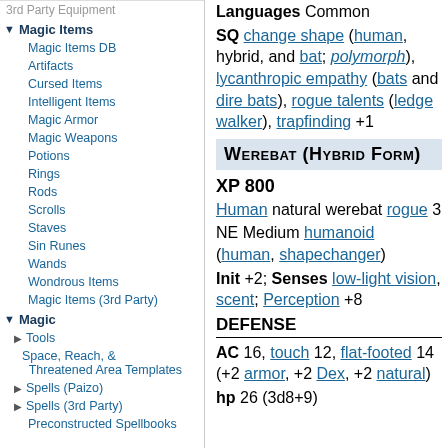3rd Party Equipment
Magic Items
Magic Items DB
Artifacts
Cursed Items
Intelligent Items
Magic Armor
Magic Weapons
Potions
Rings
Rods
Scrolls
Staves
Sin Runes
Wands
Wondrous Items
Magic Items (3rd Party)
Magic
Tools
Space, Reach, & Threatened Area Templates
Spells (Paizo)
Spells (3rd Party)
Preconstructed Spellbooks
Languages Common
SQ change shape (human, hybrid, and bat; polymorph), lycanthropic empathy (bats and dire bats), rogue talents (ledge walker), trapfinding +1
Werebat (Hybrid Form)
XP 800
Human natural werebat rogue 3
NE Medium humanoid (human, shapechanger)
Init +2; Senses low-light vision, scent; Perception +8
DEFENSE
AC 16, touch 12, flat-footed 14 (+2 armor, +2 Dex, +2 natural)
hp 26 (3d8+9)